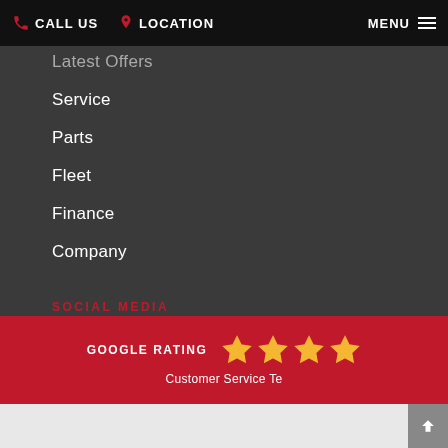CALL US   LOCATION   MENU
Latest Offers
Service
Parts
Fleet
Finance
Company
SOCIAL MEDIA
[Figure (logo): Facebook icon - white F on white rounded square background with dark red F letter]
[Figure (logo): YouTube icon - white play button on white rounded square background]
GOOGLE RATING
[Figure (infographic): 4 gold stars representing a Google Rating]
Customer Service Te